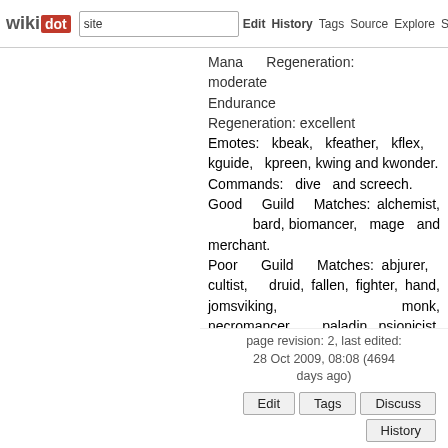wikidot | site | Edit | History | Tags | Source | Explore | Share on [Twitter]
Mana Regeneration: moderate
Endurance Regeneration: excellent
Emotes: kbeak, kfeather, kflex, kguide, kpreen, kwing and kwonder.
Commands: dive and screech.
Good Guild Matches: alchemist, bard, biomancer, mage and merchant.
Poor Guild Matches: abjurer, cultist, druid, fallen, fighter, hand, jomsviking, monk, necromancer, paladin, psionicist, ranger, sentinel and templar.
page revision: 2, last edited: 28 Oct 2009, 08:08 (4694 days ago)
Edit  Tags  Discuss  History